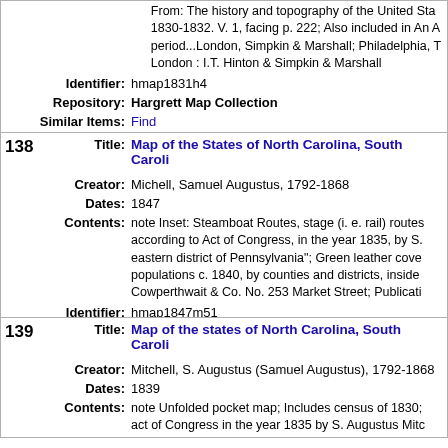From: The history and topography of the United States 1830-1832. V. 1, facing p. 222; Also included in An A period...London, Simpkin & Marshall; Philadelphia, T London : I.T. Hinton & Simpkin & Marshall
| Identifier: | hmap1831h4 |
| Repository: | Hargrett Map Collection |
| Similar Items: | Find |
| 138 | Title: | Map of the States of North Carolina, South Caroli... |
| Creator: | Michell, Samuel Augustus, 1792-1868 |
| Dates: | 1847 |
| Contents: | note Inset: Steamboat Routes, stage (i. e. rail) routes according to Act of Congress, in the year 1835, by S. eastern district of Pennsylvania"; Green leather cove populations c. 1840, by counties and districts, inside Cowperthwait & Co. No. 253 Market Street; Publicati |
| Identifier: | hmap1847m51 |
| Repository: | Hargrett Map Collection |
| Similar Items: | Find |
| 139 | Title: | Map of the states of North Carolina, South Caroli... |
| Creator: | Mitchell, S. Augustus (Samuel Augustus), 1792-1868 |
| Dates: | 1839 |
| Contents: | note Unfolded pocket map; Includes census of 1830; act of Congress in the year 1835 by S. Augustus Mitc |